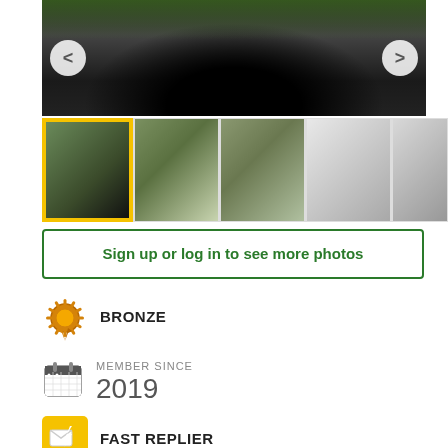[Figure (photo): Main gallery photo showing a colorful mural on a brick wall, with left and right navigation arrows]
[Figure (photo): Thumbnail strip with 5 photos: group photo (active/selected with yellow border), street view of houses with garden, another street view, interior salon shot, another interior shot]
Sign up or log in to see more photos
[Figure (illustration): Bronze badge/rosette icon in orange]
BRONZE
[Figure (illustration): Calendar icon]
MEMBER SINCE
2019
[Figure (illustration): Fast replier badge icon with yellow background and envelope/arrow symbol]
FAST REPLIER